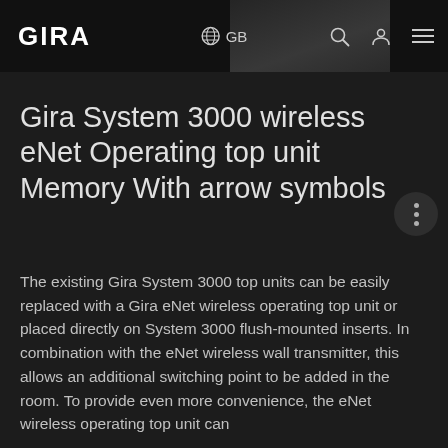GIRA  GB
Gira System 3000 wireless eNet Operating top unit Memory With arrow symbols
The existing Gira System 3000 top units can be easily replaced with a Gira eNet wireless operating top unit or placed directly on System 3000 flush-mounted inserts. In combination with the eNet wireless wall transmitter, this allows an additional switching point to be added in the room. To provide even more convenience, the eNet wireless operating top unit can